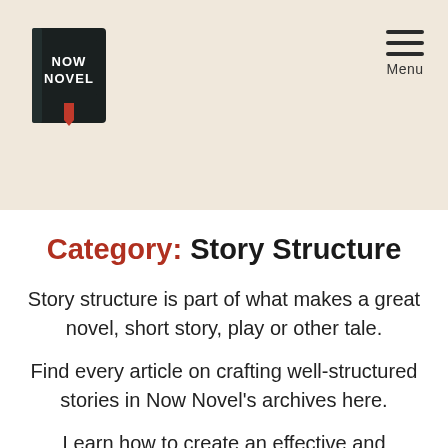[Figure (logo): Now Novel logo - black book with NOW NOVEL text in white and a red ribbon bookmark]
Menu
Category: Story Structure
Story structure is part of what makes a great novel, short story, play or other tale.
Find every article on crafting well-structured stories in Now Novel's archives here.
Learn how to create an effective and purposeful scene. Get advice on chapter structure including where to use a dinkus or